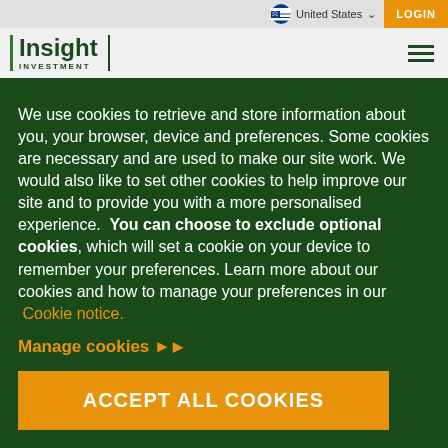Insight Investment | United States | LOGIN
We use cookies to retrieve and store information about you, your browser, device and preferences. Some cookies are necessary and are used to make our site work. We would also like to set other cookies to help improve our site and to provide you with a more personalised experience. You can choose to exclude optional cookies, which will set a cookie on your device to remember your preferences. Learn more about our cookies and how to manage your preferences in our Cookie notice.
Manage cookies ▶
ACCEPT ALL COOKIES